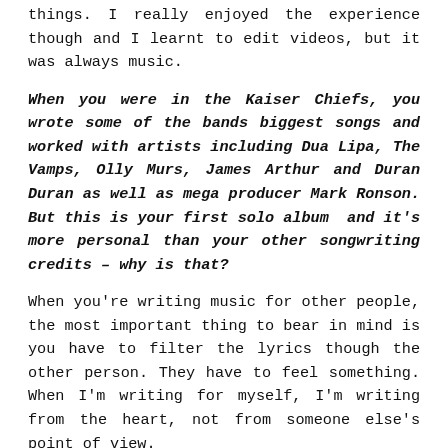things. I really enjoyed the experience though and I learnt to edit videos, but it was always music.
When you were in the Kaiser Chiefs, you wrote some of the bands biggest songs and worked with artists including Dua Lipa, The Vamps, Olly Murs, James Arthur and Duran Duran as well as mega producer Mark Ronson. But this is your first solo album and it's more personal than your other songwriting credits – why is that?
When you're writing music for other people, the most important thing to bear in mind is you have to filter the lyrics though the other person. They have to feel something. When I'm writing for myself, I'm writing from the heart, not from someone else's point of view.
What's the creative process like when you're songwriting?